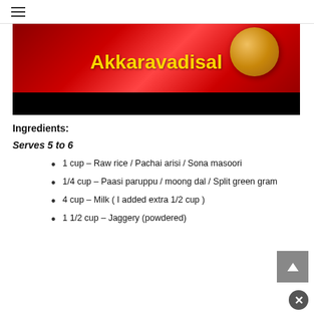≡
[Figure (photo): Banner image with red background showing brass/gold bowl/utensil, with bold yellow text 'Akkaravadisal' and black bar at bottom]
Ingredients:
Serves 5 to 6
1 cup – Raw rice / Pachai arisi / Sona masoori
1/4 cup – Paasi paruppu / moong dal / Split green gram
4 cup – Milk ( I added extra 1/2 cup )
1 1/2 cup – Jaggery (powdered)